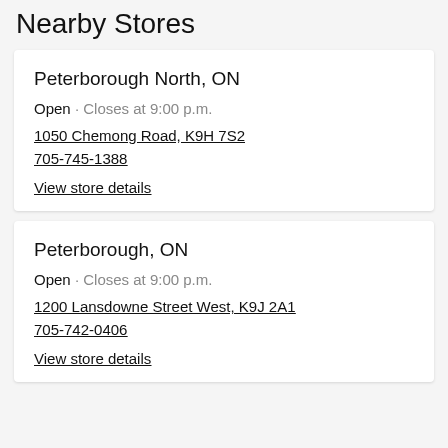Nearby Stores
Peterborough North, ON
Open · Closes at 9:00 p.m.
1050 Chemong Road, K9H 7S2
705-745-1388
View store details
Peterborough, ON
Open · Closes at 9:00 p.m.
1200 Lansdowne Street West, K9J 2A1
705-742-0406
View store details